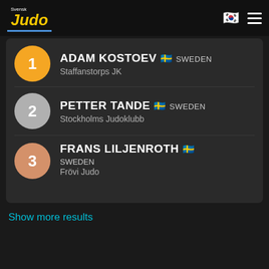[Figure (logo): Svensk Judo logo with yellow italic text on black background, blue underline]
1 ADAM KOSTOEV 🇸🇪 SWEDEN Staffanstorps JK
2 PETTER TANDE 🇸🇪 SWEDEN Stockholms Judoklubb
3 FRANS LILJENROTH 🇸🇪 SWEDEN Frövi Judo
Show more results